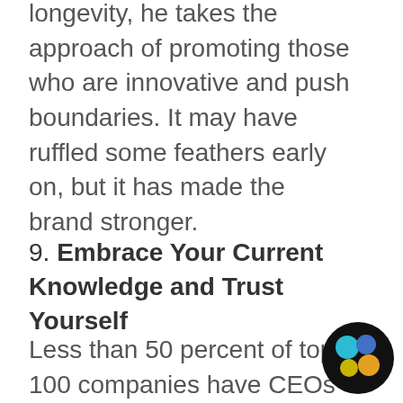longevity, he takes the approach of promoting those who are innovative and push boundaries. It may have ruffled some feathers early on, but it has made the brand stronger.
9. Embrace Your Current Knowledge and Trust Yourself
Less than 50 percent of top 100 companies have CEOs with an Ivy League degree. Flanders attended
[Figure (logo): Circular black logo with four colored circles (blue, yellow, orange, teal) arranged in a cluster pattern]